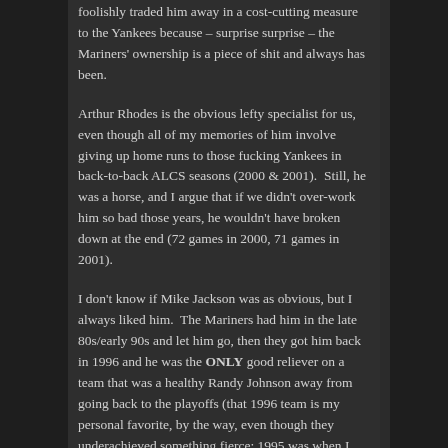foolishly traded him away in a cost-cutting measure to the Yankees because – surprise surprise – the Mariners' ownership is a piece of shit and always has been.
Arthur Rhodes is the obvious lefty specialist for us, even though all of my memories of him involve giving up home runs to those fucking Yankees in back-to-back ALCS seasons (2000 & 2001).  Still, he was a horse, and I argue that if we didn't over-work him so bad those years, he wouldn't have broken down at the end (72 games in 2000, 71 games in 2001).
I don't know if Mike Jackson was as obvious, but I always liked him.  The Mariners had him in the late 80s/early 90s and let him go, then they got him back in 1996 and he was the ONLY good reliever on a team that was a healthy Randy Johnson away from going back to the playoffs (that 1996 team is my personal favorite, by the way, even though they underachieved something fierce; 1995 was when I found the Mariners, 1996 was when I became obsessed).